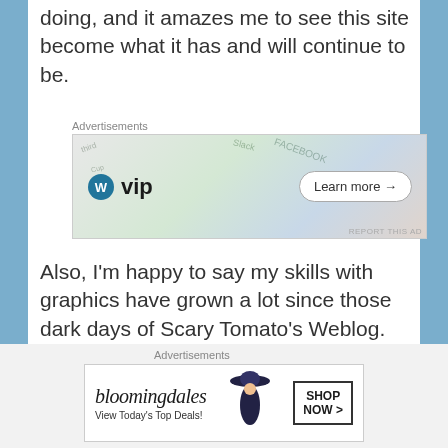doing, and it amazes me to see this site become what it has and will continue to be.
[Figure (screenshot): WordPress VIP advertisement banner with 'Learn more →' button]
Also, I'm happy to say my skills with graphics have grown a lot since those dark days of Scary Tomato's Weblog. That's what happens when you hang around your high school's art room for way too long...
[Figure (screenshot): Poptropica Help Blog advertisement banner with cartoon characters]
[Figure (screenshot): Bloomingdale's advertisement: 'View Today's Top Deals!' with SHOP NOW > button]